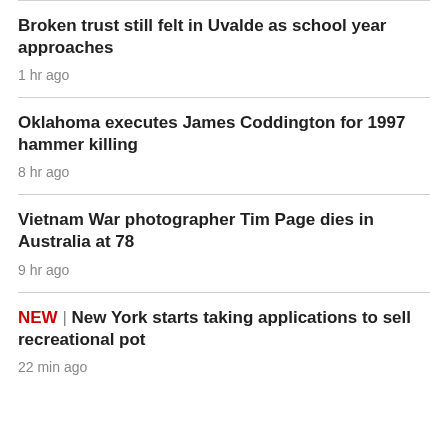Broken trust still felt in Uvalde as school year approaches
1 hr ago
Oklahoma executes James Coddington for 1997 hammer killing
8 hr ago
Vietnam War photographer Tim Page dies in Australia at 78
9 hr ago
NEW | New York starts taking applications to sell recreational pot
22 min ago